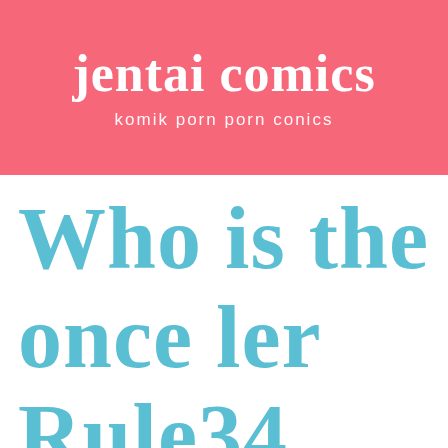jentai comics
komik porn porn conics
Who is the once ler Rule34